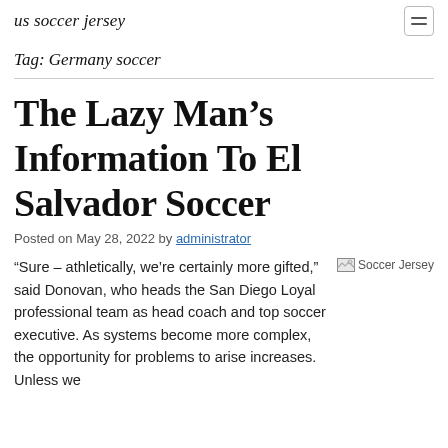us soccer jersey
Tag: Germany soccer
The Lazy Man's Information To El Salvador Soccer
Posted on May 28, 2022 by administrator
“Sure – athletically, we’re certainly more gifted,” said Donovan, who heads the San Diego Loyal professional team as head coach and top soccer executive. As systems become more complex, the opportunity for problems to arise increases. Unless we
[Figure (other): Broken image placeholder labeled 'Soccer Jersey']